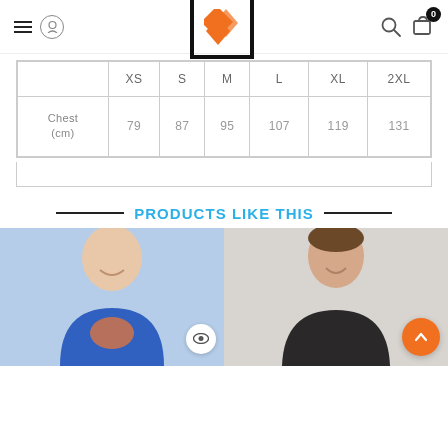[S] logo with navigation icons
|  | XS | S | M | L | XL | 2XL |
| --- | --- | --- | --- | --- | --- | --- |
| Chest (cm) | 79 | 87 | 95 | 107 | 119 | 131 |
PRODUCTS LIKE THIS
[Figure (photo): Man wearing a blue graphic t-shirt, shown from shoulders up, smiling]
[Figure (photo): Man in dark jacket against light grey background, smiling]